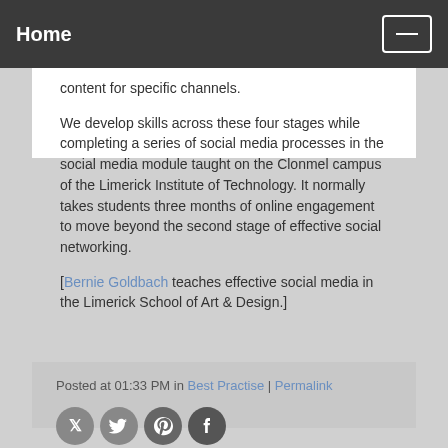Home
content for specific channels.
We develop skills across these four stages while completing a series of social media processes in the social media module taught on the Clonmel campus of the Limerick Institute of Technology. It normally takes students three months of online engagement to move beyond the second stage of effective social networking.
[Bernie Goldbach teaches effective social media in the Limerick School of Art & Design.]
Posted at 01:33 PM in Best Practise | Permalink
[Figure (other): Social media sharing icons: Twitter, Pinterest, Facebook]